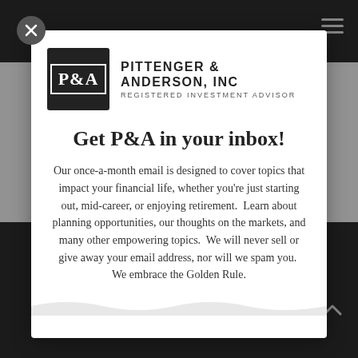[Figure (logo): Pittenger & Anderson, Inc. logo with P&A monogram in dark box and company name text]
Get P&A in your inbox!
Our once-a-month email is designed to cover topics that impact your financial life, whether you're just starting out, mid-career, or enjoying retirement.  Learn about planning opportunities, our thoughts on the markets, and many other empowering topics.  We will never sell or give away your email address, nor will we spam you.  We embrace the Golden Rule.